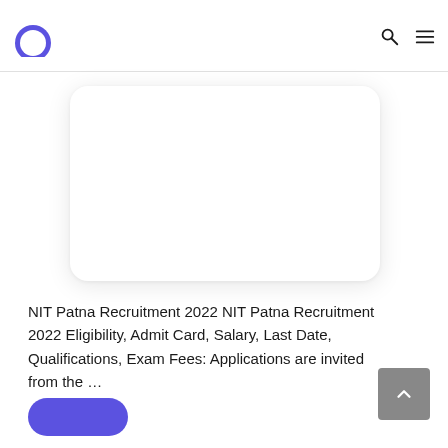Navigation bar with logo and search/menu icons
[Figure (other): White rounded rectangle card, likely an advertisement or image placeholder with shadow]
NIT Patna Recruitment 2022 NIT Patna Recruitment 2022 Eligibility, Admit Card, Salary, Last Date, Qualifications, Exam Fees: Applications are invited from the …